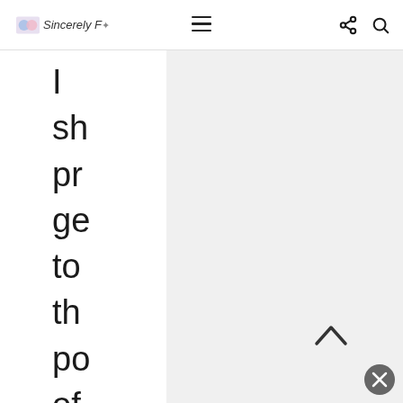Sincerely [logo] — navigation bar with hamburger menu, share icon, and search icon
I sh pro ge to the po of thi po So the a tin an a